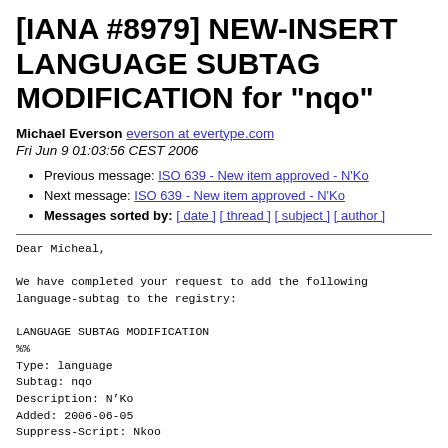[IANA #8979] NEW-INSERT LANGUAGE SUBTAG MODIFICATION for "nqo"
Michael Everson everson at evertype.com
Fri Jun 9 01:03:56 CEST 2006
Previous message: ISO 639 - New item approved - N'Ko
Next message: ISO 639 - New item approved - N'Ko
Messages sorted by: [ date ] [ thread ] [ subject ] [ author ]
Dear Micheal,

We have completed your request to add the following
language-subtag to the registry:

LANGUAGE SUBTAG MODIFICATION
%%
Type: language
Subtag: nqo
Description: N’Ko
Added: 2006-06-05
Suppress-Script: Nkoo